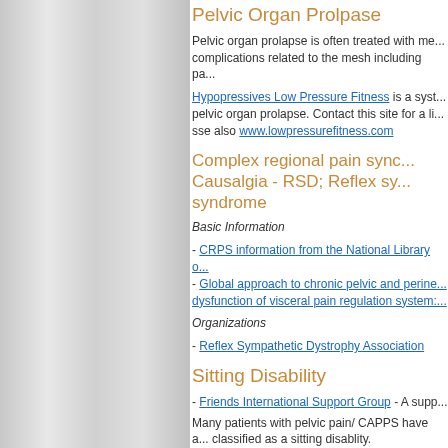Pelvic Organ Prolpase
Pelvic organ prolapse is often treated with me... complications related to the mesh including pa...
Hypopressives Low Pressure Fitness is a syst... pelvic organ prolapse. Contact this site for a li... sse also www.lowpressurefitness.com
Complex regional pain sync... Causalgia - RSD; Reflex sy... syndrome
Basic Information
- CRPS information from the National Library o...
- Global approach to chronic pelvic and perine... dysfunction of visceral pain regulation system:...
Organizations
- Reflex Sympathetic Dystrophy Association
Sitting Disability
- Friends International Support Group - A supp...
Many patients with pelvic pain/ CAPPS have a... classified as a sitting disablity.